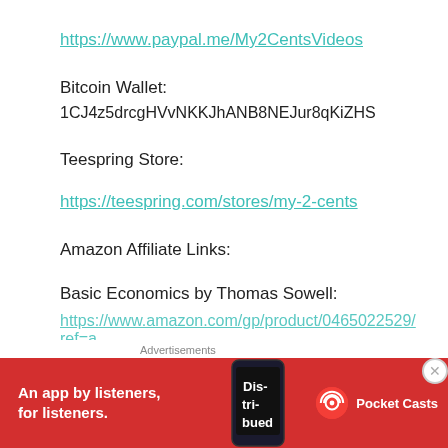https://www.paypal.me/My2CentsVideos
Bitcoin Wallet:
1CJ4z5drcgHVvNKKJhANB8NEJur8qKiZHS
Teespring Store:
https://teespring.com/stores/my-2-cents
Amazon Affiliate Links:
Basic Economics by Thomas Sowell:
https://www.amazon.com/gp/product/0465022529/ref=a
Advertisements
[Figure (infographic): Pocket Casts app advertisement banner: red background with white text 'An app by listeners, for listeners.' and Pocket Casts logo]